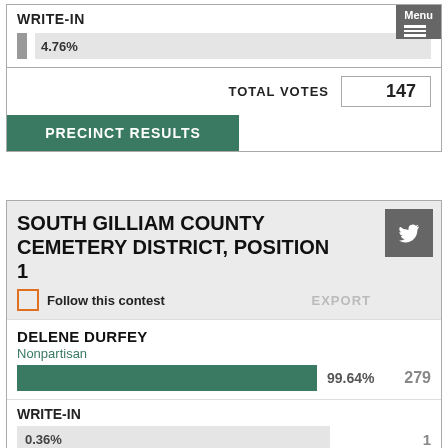WRITE-IN
[Figure (bar-chart): WRITE-IN votes]
| TOTAL VOTES | 147 |
| --- | --- |
PRECINCT RESULTS
SOUTH GILLIAM COUNTY CEMETERY DISTRICT, POSITION 1
Follow this contest
EXPORT
DELENE DURFEY
Nonpartisan
[Figure (bar-chart): ]
279
WRITE-IN
0.36%
1
| TOTAL VOTES | 280 |
| --- | --- |